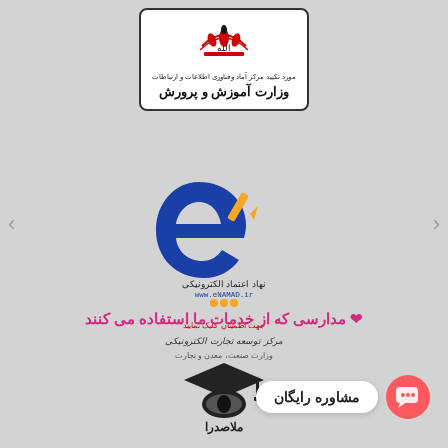[Figure (logo): Ministry of Education of Iran logo with emblem and text in Persian: وزارت آموزش و پرورش (Ministry of Education and Training), with subtitle مورد تکیید مرکز آماد و فناوری اطلاعات و ارتباطات]
[Figure (logo): eNamad (Iranian e-trust) logo showing stylized blue 'e' with pen, text نهاد اعتماد الکترونیکی, www.eNAMAD.ir, جهت اطمینان کلیک نمایید, مرکز توسعه تجارت الکترونیکی, وزارت صنعت، معدن و تجارت]
❤ مدارسی که از خدمات ما استفاده می کنند
[Figure (logo): Molla Sadra school logo with graduation cap and book icon, text ملاصدرا]
مشاوره رایگان